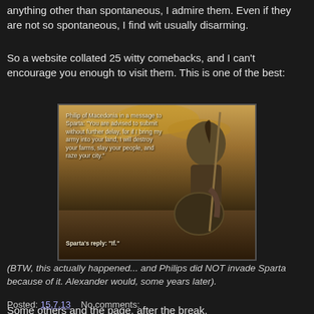anything other than spontaneous, I admire them. Even if they are not so spontaneous, I find wit usually disarming.
So a website collated 25 witty comebacks, and I can't encourage you enough to visit them. This is one of the best:
[Figure (photo): A Spartan warrior in armor holding a spear and shield, with text overlay: Philip of Macedonia in a message to Sparta: "You are advised to submit without further delay, for if I bring my army into your land, I will destroy your farms, slay your people, and raze your city." Sparta's reply: "If."]
(BTW, this actually happened... and Philips did NOT invade Sparta because of it. Alexander would, some years later).
Some others and the page, after the break.
Posted: 15.7.13   No comments: